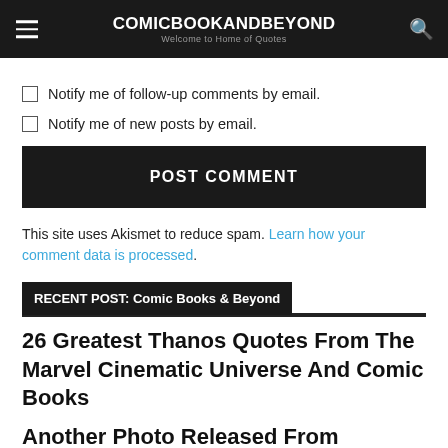COMICBOOKANDBEYOND — Welcome to Home of Quotes
Notify me of follow-up comments by email.
Notify me of new posts by email.
POST COMMENT
This site uses Akismet to reduce spam. Learn how your comment data is processed.
RECENT POST: Comic Books & Beyond
26 Greatest Thanos Quotes From The Marvel Cinematic Universe And Comic Books
Another Photo Released From Jurassic World Sets